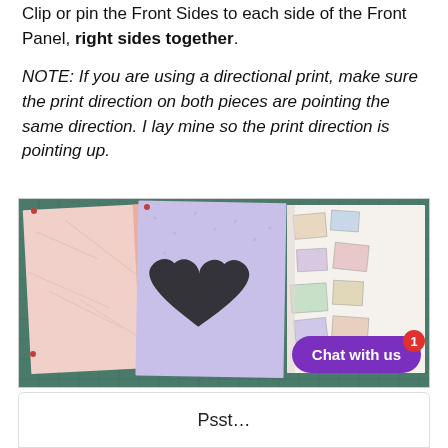Clip or pin the Front Sides to each side of the Front Panel, right sides together.
NOTE: If you are using a directional print, make sure the print direction on both pieces are pointing the same direction. I lay mine so the print direction is pointing up.
[Figure (photo): Photo of fabric pieces pinned together on a green cutting mat. Three fabric pieces are visible: a pink/cream piece on the left, a purple piece in the middle with a black heart design, and a postcard-print fabric on the right. A purple 'Chat with us' button with a red badge showing '1' is overlaid in the bottom right.]
Psst…